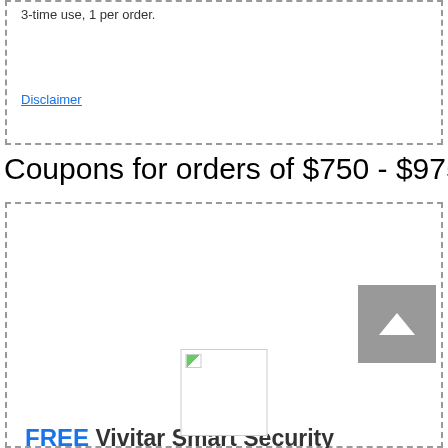3-time use, 1 per order.
Disclaimer
Coupons for orders of $750 - $975
FREE Vivitar Smart Security Outdoor Wi-Fi Camera when you spend $750
[Figure (photo): Product image placeholder (broken image icon)]